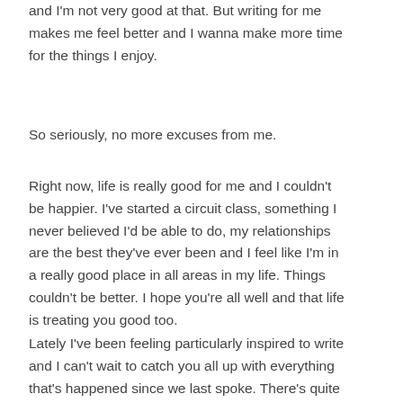and I'm not very good at that. But writing for me makes me feel better and I wanna make more time for the things I enjoy.
So seriously, no more excuses from me.
Right now, life is really good for me and I couldn't be happier. I've started a circuit class, something I never believed I'd be able to do, my relationships are the best they've ever been and I feel like I'm in a really good place in all areas in my life. Things couldn't be better. I hope you're all well and that life is treating you good too.
Lately I've been feeling particularly inspired to write and I can't wait to catch you all up with everything that's happened since we last spoke. There's quite a bit too! You better fasten the...